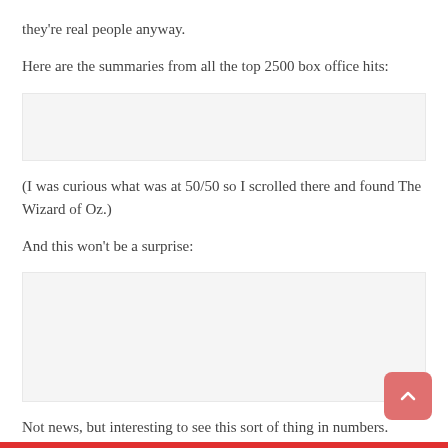they're real people anyway.
Here are the summaries from all the top 2500 box office hits:
[Figure (other): Placeholder image area (light gray box) representing embedded content]
(I was curious what was at 50/50 so I scrolled there and found The Wizard of Oz.)
And this won't be a surprise:
[Figure (other): Placeholder image area (light gray box, taller) representing embedded content]
Not news, but interesting to see this sort of thing in numbers.